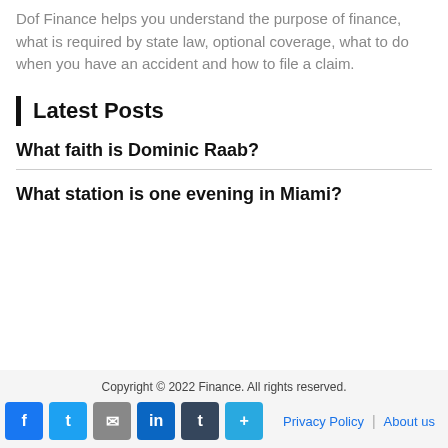Dof Finance helps you understand the purpose of finance, what is required by state law, optional coverage, what to do when you have an accident and how to file a claim.
Latest Posts
What faith is Dominic Raab?
What station is one evening in Miami?
Copyright © 2022 Finance. All rights reserved. Privacy Policy | About us